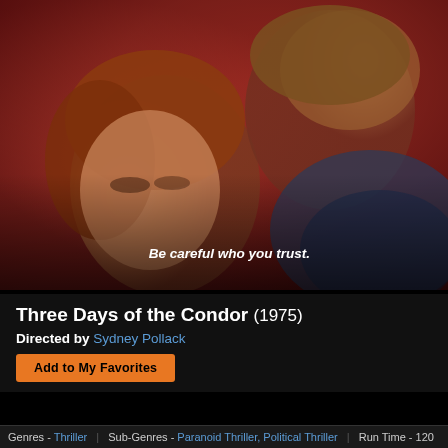[Figure (photo): Movie poster for Three Days of the Condor (1975) showing a woman with auburn hair and a man against a red background, with the tagline 'Be careful who you trust.']
Three Days of the Condor (1975)
Directed by Sydney Pollack
Add to My Favorites
Genres - Thriller | Sub-Genres - Paranoid Thriller, Political Thriller | Run Time - 120